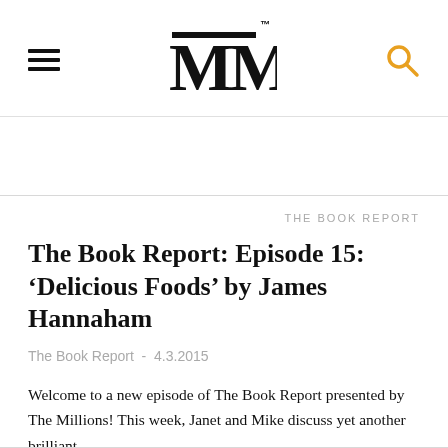MM (The Millions logo)
THE BOOK REPORT
The Book Report: Episode 15: ‘Delicious Foods’ by James Hannaham
The Book Report - 4.3.2015
Welcome to a new episode of The Book Report presented by The Millions! This week, Janet and Mike discuss yet another brilliant,